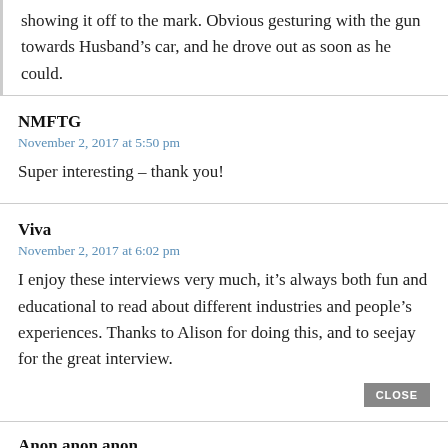showing it off to the mark. Obvious gesturing with the gun towards Husband's car, and he drove out as soon as he could.
NMFTG
November 2, 2017 at 5:50 pm
Super interesting – thank you!
Viva
November 2, 2017 at 6:02 pm
I enjoy these interviews very much, it's always both fun and educational to read about different industries and people's experiences. Thanks to Alison for doing this, and to seejay for the great interview.
Anon anon anon